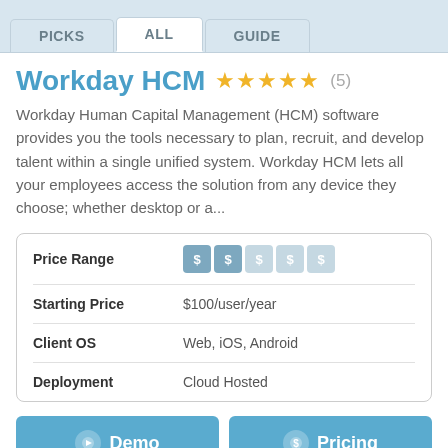PICKS | ALL | GUIDE
Workday HCM ★★★★★ (5)
Workday Human Capital Management (HCM) software provides you the tools necessary to plan, recruit, and develop talent within a single unified system. Workday HCM lets all your employees access the solution from any device they choose; whether desktop or a...
|  |  |
| --- | --- |
| Price Range | $$--- |
| Starting Price | $100/user/year |
| Client OS | Web, iOS, Android |
| Deployment | Cloud Hosted |
Demo | Pricing